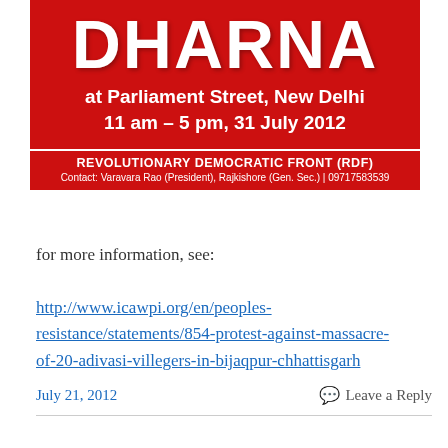[Figure (infographic): Red banner/poster for a Dharna (protest) at Parliament Street, New Delhi, 11 am – 5 pm, 31 July 2012, organized by Revolutionary Democratic Front (RDF). Contact: Varavara Rao (President), Rajkishore (Gen. Sec.) | 09717583539]
for more information, see:
http://www.icawpi.org/en/peoples-resistance/statements/854-protest-against-massacre-of-20-adivasi-villegers-in-bijaqpur-chhattisgarh
July 21, 2012
Leave a Reply